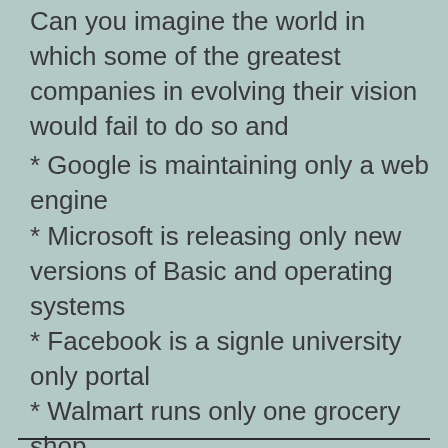Can you imagine the world in which some of the greatest companies in evolving their vision would fail to do so and
* Google is maintaining only a web engine
* Microsoft is releasing only new versions of Basic and operating systems
* Facebook is a signle university only portal
* Walmart runs only one grocery shop
* Amazon still sells only books
?